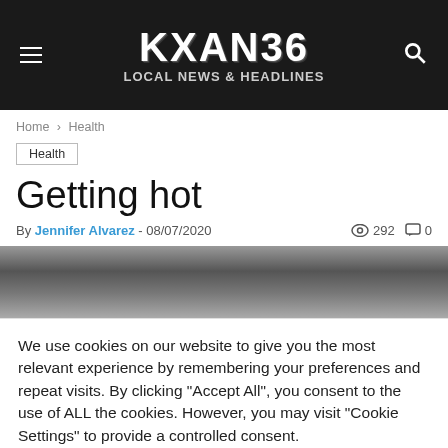KXAN36 LOCAL NEWS & HEADLINES
Home > Health
Health
Getting hot
By Jennifer Alvarez - 08/07/2020  292  0
[Figure (photo): Gradient gray image strip representing an article photo]
We use cookies on our website to give you the most relevant experience by remembering your preferences and repeat visits. By clicking "Accept All", you consent to the use of ALL the cookies. However, you may visit "Cookie Settings" to provide a controlled consent.